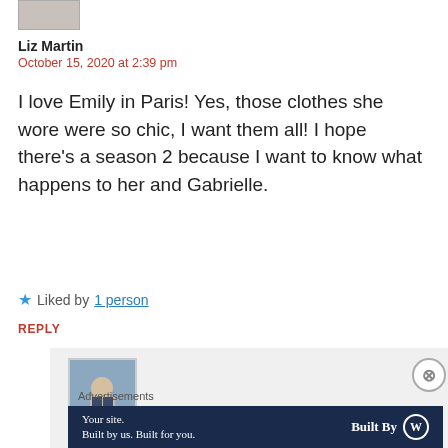[Figure (photo): Small avatar photo of a person at the top left]
Liz Martin
October 15, 2020 at 2:39 pm
I love Emily in Paris! Yes, those clothes she wore were so chic, I want them all! I hope there’s a season 2 because I want to know what happens to her and Gabrielle.
★ Liked by 1 person
REPLY
[Figure (photo): Small profile photo of a person sitting on steps]
Advertisements
[Figure (other): WordPress advertisement banner: Your site. Built by us. Built for you. Built By WordPress logo]